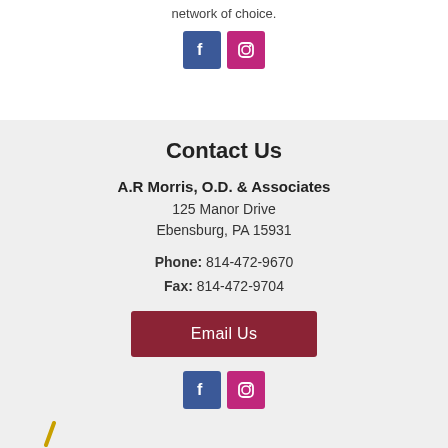network of choice.
[Figure (illustration): Facebook and Instagram social media icons (top)]
Contact Us
A.R Morris, O.D. & Associates
125 Manor Drive
Ebensburg, PA 15931
Phone: 814-472-9670
Fax: 814-472-9704
[Figure (illustration): Email Us button (dark red)]
[Figure (illustration): Facebook and Instagram social media icons (bottom)]
[Figure (illustration): Gold checkmark or decorative mark at bottom left]